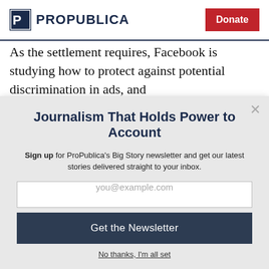ProPublica | Donate
As the settlement requires, Facebook is studying how to protect against potential discrimination in ads, and
Journalism That Holds Power to Account
Sign up for ProPublica's Big Story newsletter and get our latest stories delivered straight to your inbox.
you@example.com
Get the Newsletter
No thanks, I'm all set
This site is protected by reCAPTCHA and the Google Privacy Policy and Terms of Service apply.